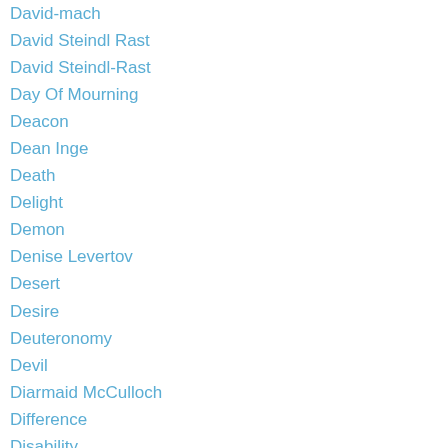David-mach
David Steindl Rast
David Steindl-Rast
Day Of Mourning
Deacon
Dean Inge
Death
Delight
Demon
Denise Levertov
Desert
Desire
Deuteronomy
Devil
Diarmaid McCulloch
Difference
Disability
Disciple
Discipleship
Dispossession
Diversity